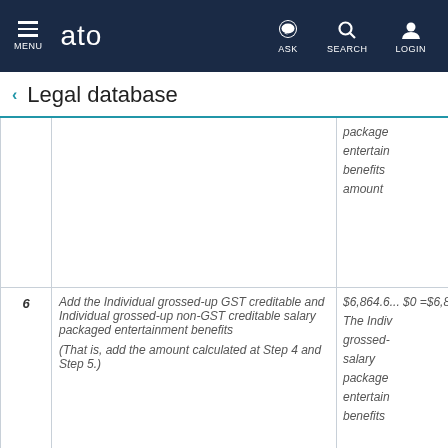MENU | ato | ASK | SEARCH | LOGIN
Legal database
| Step | Description | Value |
| --- | --- | --- |
|  |  | package entertainment benefits amount |
| 6 | Add the Individual grossed-up GST creditable and Individual grossed-up non-GST creditable salary packaged entertainment benefits

(That is, add the amount calculated at Step 4 and Step 5.) | $6,864.6... $0 = $6,8...

The Individual grossed-up salary packaged entertainment benefits |